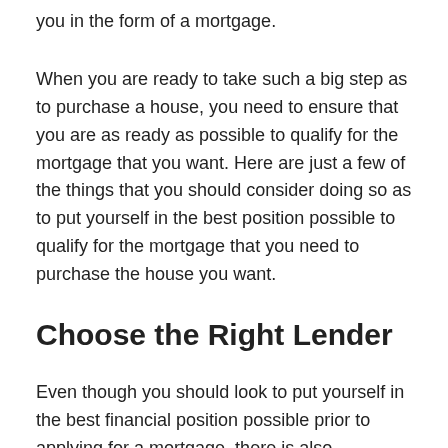you in the form of a mortgage.
When you are ready to take such a big step as to purchase a house, you need to ensure that you are as ready as possible to qualify for the mortgage that you want. Here are just a few of the things that you should consider doing so as to put yourself in the best position possible to qualify for the mortgage that you need to purchase the house you want.
Choose the Right Lender
Even though you should look to put yourself in the best financial position possible prior to applying for a mortgage, there is also something to be said for the sort of lender you decide to work with. The fact of the matter is that not all lenders are equal, and some are going to be better suited to working with someone in